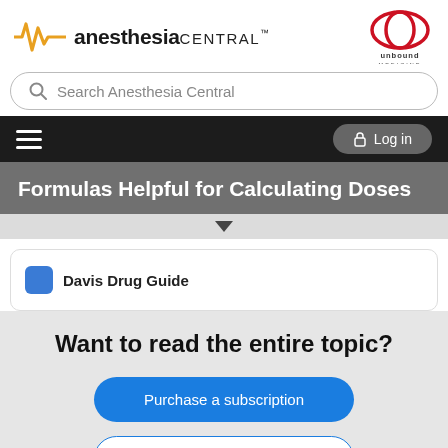[Figure (logo): Anesthesia Central logo with orange heartbeat waveform icon and bold text, plus Unbound Medicine logo top right]
Search Anesthesia Central
[Figure (screenshot): Navigation bar with hamburger menu on the left and Log in button on the right, dark background]
Formulas Helpful for Calculating Doses
Davis Drug Guide
Want to read the entire topic?
Purchase a subscription
I'm already a subscriber
Browse sample topics